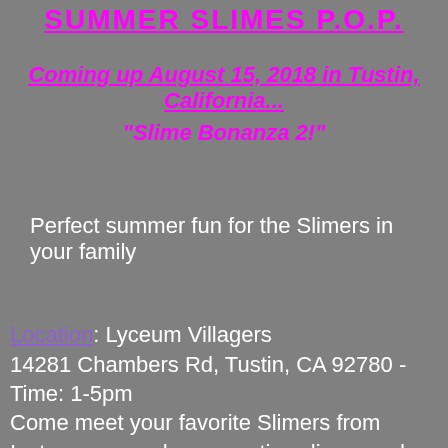SUMMER SLIMES P.O.P.
Coming up August 15, 2018 in Tustin, California...
"Slime Bonanza 2!"
Perfect summer fun for the Slimers in your family
Location: Lyceum Villagers
14281 Chambers Rd, Tustin, CA 92780 - Time: 1-5pm
Come meet your favorite Slimers from Instagram, purchase creative slimes and other merchanise, play